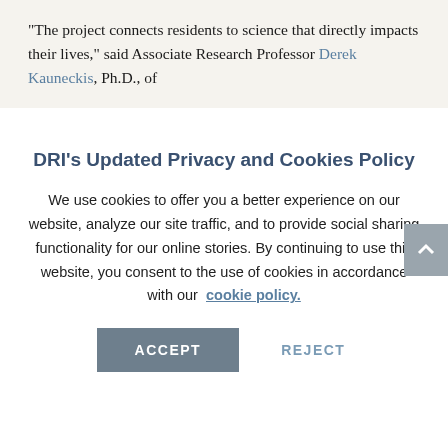“The project connects residents to science that directly impacts their lives,” said Associate Research Professor Derek Kauneckis, Ph.D., of
DRI's Updated Privacy and Cookies Policy
We use cookies to offer you a better experience on our website, analyze our site traffic, and to provide social sharing functionality for our online stories. By continuing to use this website, you consent to the use of cookies in accordance with our cookie policy.
ACCEPT   REJECT